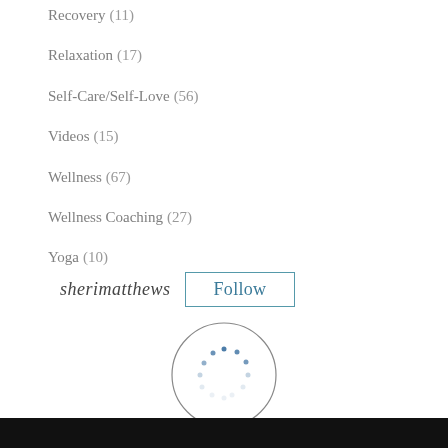Recovery (11)
Relaxation (17)
Self-Care/Self-Love (56)
Videos (15)
Wellness (67)
Wellness Coaching (27)
Yoga (10)
sherimatthews  Follow
[Figure (other): A loading spinner icon — a circle of small blue dots arranged in a ring, inside a larger thin circle outline.]